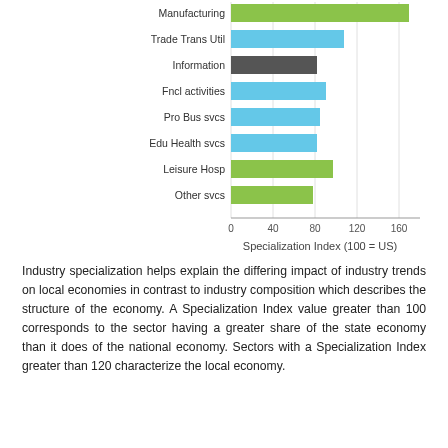[Figure (bar-chart): ]
Industry specialization helps explain the differing impact of industry trends on local economies in contrast to industry composition which describes the structure of the economy. A Specialization Index value greater than 100 corresponds to the sector having a greater share of the state economy than it does of the national economy. Sectors with a Specialization Index greater than 120 characterize the local economy.